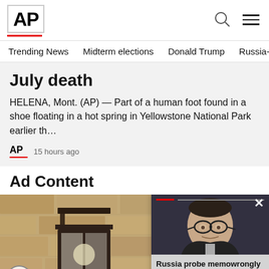AP
Trending News   Midterm elections   Donald Trump   Russia-Ukr
July death
HELENA, Mont. (AP) — Part of a human foot found in a shoe floating in a hot spring in Yellowstone National Park earlier th…
AP  15 hours ago
Ad Content
[Figure (photo): A stone wall with a black iron lantern mounted on it, outdoor lighting fixture. An accessibility icon button is visible in the bottom-left corner.]
[Figure (photo): An overlay card showing a man with glasses (William Barr) with a red accent bar at the top and caption text reading: Russia probe memo wrongly withheld under Ba... with a close (X) button.]
Russia probe memowrongly withheldunder Ba...